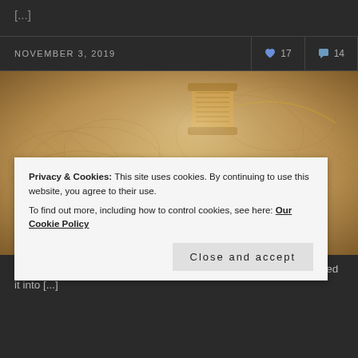[...]
NOVEMBER 3, 2019   ♥ 17   💬 14
[Figure (photo): Sepia-toned photograph of hands sewing or weaving fabric, with a spool of yellow/gold thread in the background on burlap material.]
Privacy & Cookies: This site uses cookies. By continuing to use this website, you agree to their use.
To find out more, including how to control cookies, see here: Our Cookie Policy
Close and accept
paragraph of Flora Thompson's semi-biographical books and turned it into [...]